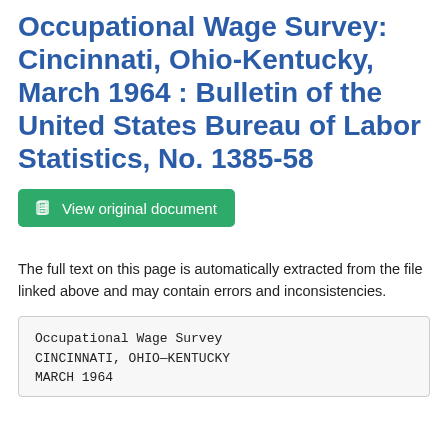Occupational Wage Survey: Cincinnati, Ohio-Kentucky, March 1964 : Bulletin of the United States Bureau of Labor Statistics, No. 1385-58
View original document
The full text on this page is automatically extracted from the file linked above and may contain errors and inconsistencies.
Occupational Wage Survey
CINCINNATI, OHIO—KENTUCKY
MARCH 1964